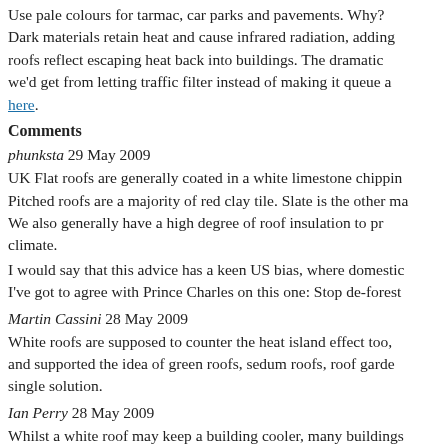Use pale colours for tarmac, car parks and pavements. Why? Dark materials retain heat and cause infrared radiation, adding roofs reflect escaping heat back into buildings. The dramatic we'd get from letting traffic filter instead of making it queue a here.
Comments
phunksta 29 May 2009
UK Flat roofs are generally coated in a white limestone chippin Pitched roofs are a majority of red clay tile. Slate is the other ma We also generally have a high degree of roof insulation to pr climate.
I would say that this advice has a keen US bias, where domestic I've got to agree with Prince Charles on this one: Stop de-forest
Martin Cassini 28 May 2009
White roofs are supposed to counter the heat island effect too, and supported the idea of green roofs, sedum roofs, roof garde single solution.
Ian Perry 28 May 2009
Whilst a white roof may keep a building cooler, many buildings